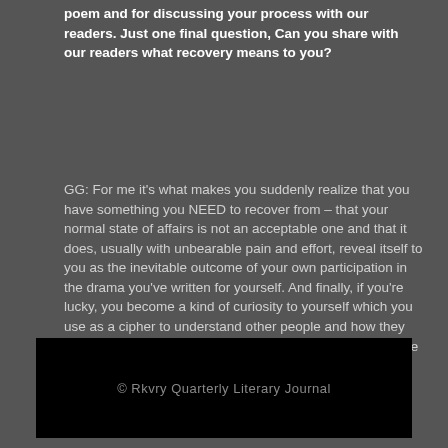poem and for discussing your process with our readers. Just one final question, Can you share with our readers what recovery means to you?
GG: For me it's what makes you suddenly realize that you have something you NEED to recover from – that your normal state of affairs is not an acceptable one and that it does, usually with unbearable pain and effort, reveal itself to you as the inevitable outcome of your own participation in the drama you've written for yourself. And finally, if you're lucky, you become a kind of curiosity to yourself which you use as a cipher to understand other people and how they live their own epics. That's forgiveness, all around. And one of the most important forms of kindness.
© Rkvry Quarterly Literary Journal